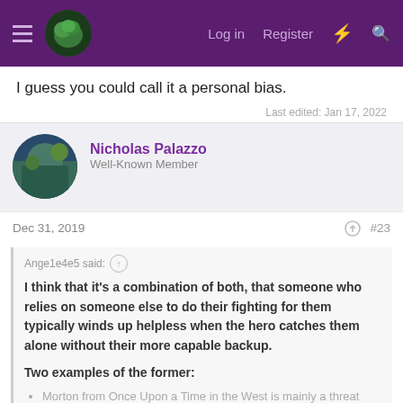Log in  Register
I guess you could call it a personal bias.
Last edited: Jan 17, 2022
Nicholas Palazzo
Well-Known Member
Dec 31, 2019  #23
Ange1e4e5 said:
I think that it's a combination of both, that someone who relies on someone else to do their fighting for them typically winds up helpless when the hero catches them alone without their more capable backup.

Two examples of the former:
• Morton from Once Upon a Time in the West is mainly a threat because he's hired a vicious, psychopathic gunman named
Click to expand...